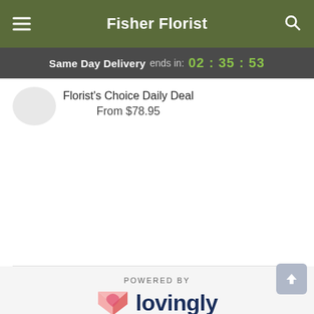Fisher Florist
Same Day Delivery ends in: 02 : 35 : 53
Florist's Choice Daily Deal
From $78.95
[Figure (logo): Lovingly logo with pink heart/envelope icon and dark navy text]
POWERED BY
Fisher Florist is a Lovingly Momentmaker in New London, CT.
Buying local matters. Discover how Lovingly is committed to strengthening relationships by helping local florists market, sell, and deliver their floral